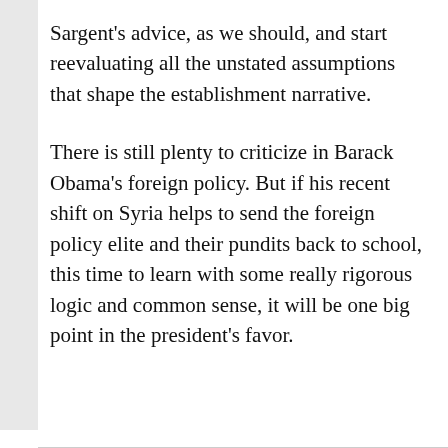Sargent's advice, as we should, and start reevaluating all the unstated assumptions that shape the establishment narrative.
There is still plenty to criticize in Barack Obama's foreign policy. But if his recent shift on Syria helps to send the foreign policy elite and their pundits back to school, this time to learn with some really rigorous logic and common sense, it will be one big point in the president's favor.